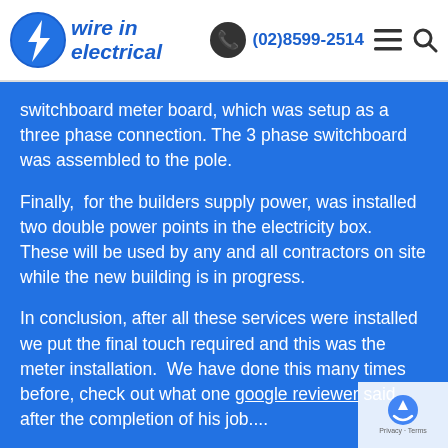wire in electrical | (02)8599-2514
switchboard meter board, which was setup as a three phase connection. The 3 phase switchboard was assembled to the pole.
Finally,  for the builders supply power, was installed two double power points in the electricity box.  These will be used by any and all contractors on site while the new building is in progress.
In conclusion, after all these services were installed we put the final touch required and this was the meter installation.  We have done this many times before, check out what one google reviewer said after the completion of his job....